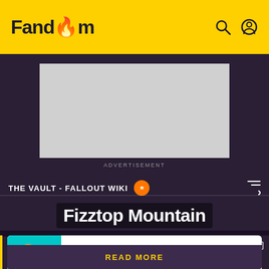Fandom
[Figure (other): Advertisement placeholder block (grey rectangle)]
ADVERTISEMENT
THE VAULT - FALLOUT WIKI
Fizztop Mountain
[Figure (illustration): Cartoon character illustration on teal background]
We've Moved! Just as Goodsprings has joined forces with Primm, this wiki has joined forces...
READ MORE